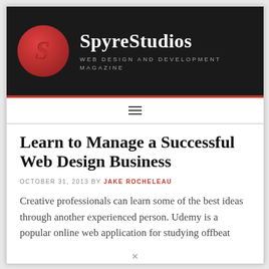[Figure (logo): SpyreStudios logo with red circle containing letter S and site name with tagline 'WEB DESIGN AND DEVELOPMENT MAGAZINE' on dark background]
SpyreStudios — WEB DESIGN AND DEVELOPMENT MAGAZINE
Learn to Manage a Successful Web Design Business
OCTOBER 31, 2013 BY JAKE ROCHELEAU
Creative professionals can learn some of the best ideas through another experienced person. Udemy is a popular online web application for studying offbeat